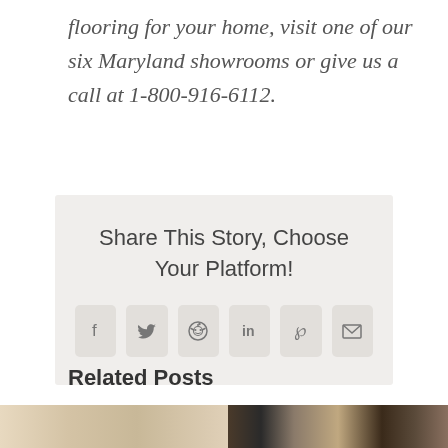flooring for your home, visit one of our six Maryland showrooms or give us a call at 1-800-916-6112.
Share This Story, Choose Your Platform!
[Figure (infographic): Social sharing icons row: Facebook (f), Twitter (bird/y), Reddit (alien), LinkedIn (in), Pinterest (P), Email (envelope)]
Related Posts
[Figure (photo): Two partially visible related post thumbnail images at the bottom of the page]